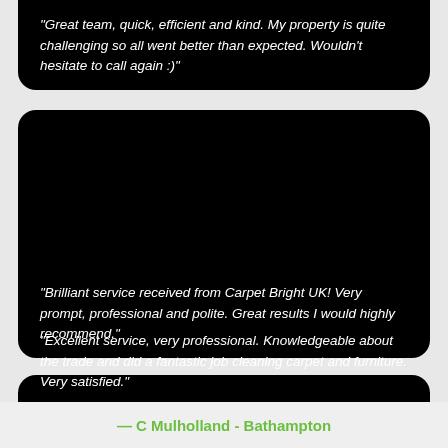"Great team, quick, efficient and kind. My property is quite challenging so all went better than expected. Wouldn't hesitate to call again :)"
"Brilliant service received from Carpet Bright UK! Very prompt, professional and polite. Great results I would highly recommend."
"Excellent service, very professional. Knowledgeable about the trade and did a fantastic job cleaning carpet and furniture. Very satisfied."
— C Mulholland - Bathampton